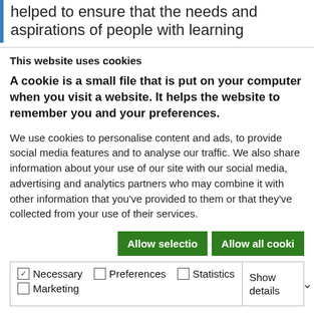helped to ensure that the needs and aspirations of people with learning
This website uses cookies
A cookie is a small file that is put on your computer when you visit a website.  It helps the website to remember you and your preferences.
We use cookies to personalise content and ads, to provide social media features and to analyse our traffic. We also share information about your use of our site with our social media, advertising and analytics partners who may combine it with other information that you've provided to them or that they've collected from your use of their services.
Allow selection | Allow all cookies
| ✓ Necessary | ☐ Preferences | ☐ Statistics | Show details ˅ |
| ☐ Marketing |  |  |  |